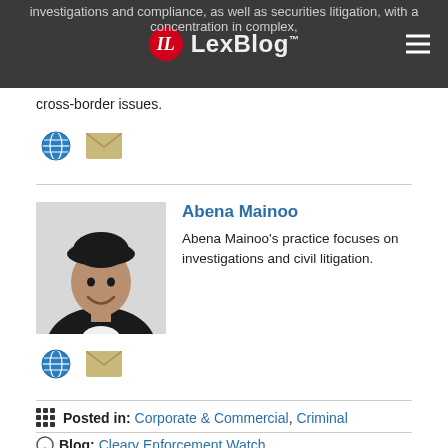LexBlog
investigations and compliance, as well as securities litigation, with a concentration in complex, cross-border issues.
[Figure (illustration): Globe icon and email envelope icon links]
Abena Mainoo
Abena Mainoo's practice focuses on investigations and civil litigation.
[Figure (photo): Black and white portrait photo of Abena Mainoo]
[Figure (illustration): Globe icon and email envelope icon links]
Posted in: Corporate & Commercial, Criminal
Blog: Cleary Enforcement Watch